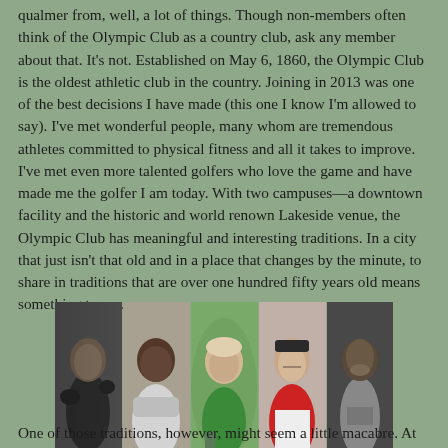qualmer from, well, a lot of things. Though non-members often think of the Olympic Club as a country club, ask any member about that. It's not. Established on May 6, 1860, the Olympic Club is the oldest athletic club in the country. Joining in 2013 was one of the best decisions I have made (this one I know I'm allowed to say). I've met wonderful people, many whom are tremendous athletes committed to physical fitness and all it takes to improve. I've met even more talented golfers who love the game and have made me the golfer I am today. With two campuses—a downtown facility and the historic and world renown Lakeside venue, the Olympic Club has meaningful and interesting traditions. In a city that just isn't that old and in a place that changes by the minute, to share in traditions that are over one hundred fifty years old means something to me.
[Figure (photo): A strip of five black and white and color photographs of athletes/sports figures side by side]
One of those traditions, however, might seem a little macabre. At